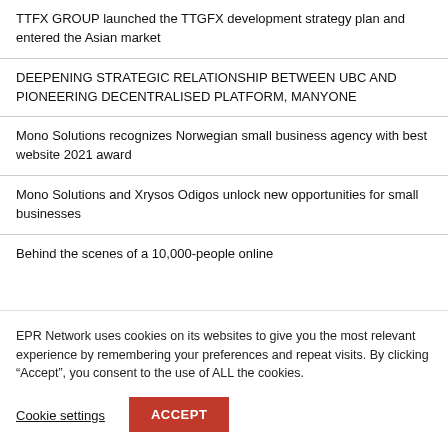TTFX GROUP launched the TTGFX development strategy plan and entered the Asian market
DEEPENING STRATEGIC RELATIONSHIP BETWEEN UBC AND PIONEERING DECENTRALISED PLATFORM, MANYONE
Mono Solutions recognizes Norwegian small business agency with best website 2021 award
Mono Solutions and Xrysos Odigos unlock new opportunities for small businesses
Behind the scenes of a 10,000-people online
EPR Network uses cookies on its websites to give you the most relevant experience by remembering your preferences and repeat visits. By clicking “Accept”, you consent to the use of ALL the cookies.
Cookie settings
ACCEPT